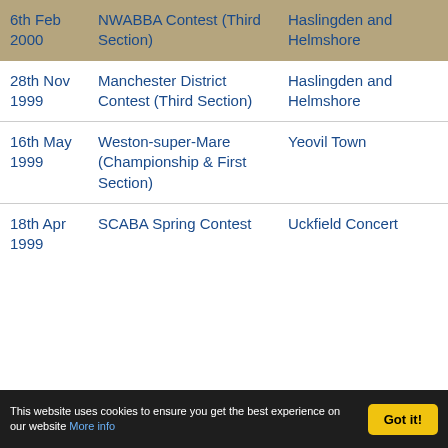| Date | Event | Band | Position |
| --- | --- | --- | --- |
| 6th Feb 2000 | NWABBA Contest (Third Section) | Haslingden and Helmshore | 3 |
| 28th Nov 1999 | Manchester District Contest (Third Section) | Haslingden and Helmshore | 4 |
| 16th May 1999 | Weston-super-Mare (Championship & First Section) | Yeovil Town |  |
| 18th Apr 1999 | SCABA Spring Contest | Uckfield Concert | 4 |
This website uses cookies to ensure you get the best experience on our website More info